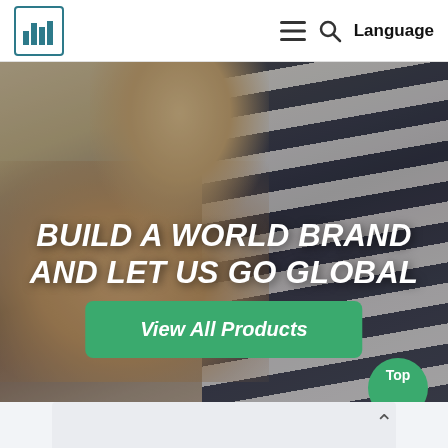[Figure (screenshot): Website header with teal/dark building logo icon on the left, hamburger menu icon, search icon, and Language text on the right]
[Figure (photo): Hero banner image of a person wearing a navy and white striped top giving a thumbs up gesture, with overlay text BUILD A WORLD BRAND AND LET US GO GLOBAL and a green View All Products button]
BUILD A WORLD BRAND AND LET US GO GLOBAL
View All Products
Top